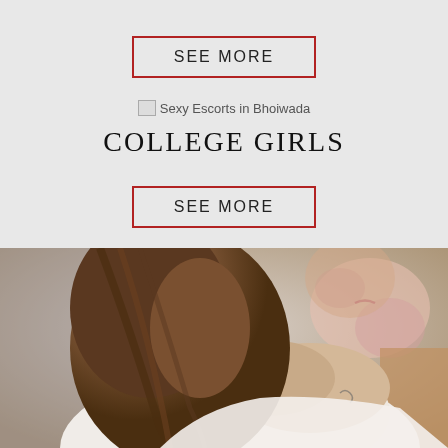SEE MORE
[Figure (photo): Broken image placeholder with alt text: Sexy Escorts in Bhoiwada]
COLLEGE GIRLS
SEE MORE
[Figure (photo): Photo of a young woman with long brown hair, wearing a white off-shoulder top, viewed from behind/side, with blurred floral background]